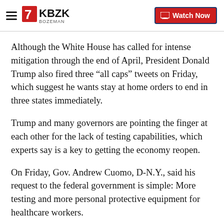KBZK Bozeman — Watch Now
Although the White House has called for intense mitigation through the end of April, President Donald Trump also fired three “all caps” tweets on Friday, which suggest he wants stay at home orders to end in three states immediately.
Trump and many governors are pointing the finger at each other for the lack of testing capabilities, which experts say is a key to getting the economy reopen.
On Friday, Gov. Andrew Cuomo, D-N.Y., said his request to the federal government is simple: More testing and more personal protective equipment for healthcare workers.